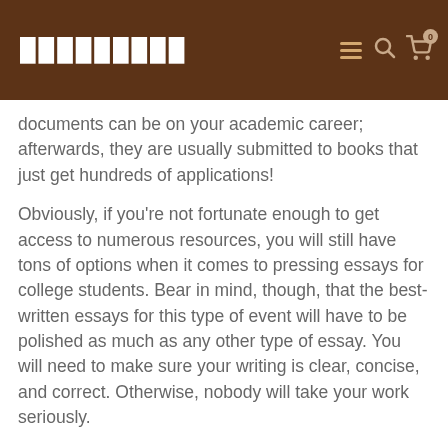█████████
documents can be on your academic career; afterwards, they are usually submitted to books that just get hundreds of applications!
Obviously, if you're not fortunate enough to get access to numerous resources, you will still have tons of options when it comes to pressing essays for college students. Bear in mind, though, that the best-written essays for this type of event will have to be polished as much as any other type of essay. You will need to make sure your writing is clear, concise, and correct. Otherwise, nobody will take your work seriously.
Where can you have the very best advice and help in writing urgent essays? The very first thing to do is